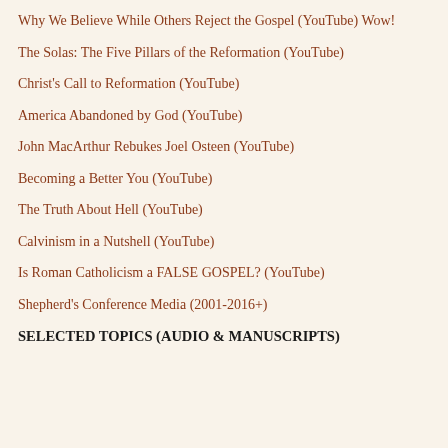Why We Believe While Others Reject the Gospel (YouTube) Wow!
The Solas: The Five Pillars of the Reformation (YouTube)
Christ's Call to Reformation (YouTube)
America Abandoned by God (YouTube)
John MacArthur Rebukes Joel Osteen (YouTube)
Becoming a Better You (YouTube)
The Truth About Hell (YouTube)
Calvinism in a Nutshell (YouTube)
Is Roman Catholicism a FALSE GOSPEL? (YouTube)
Shepherd's Conference Media (2001-2016+)
SELECTED TOPICS (AUDIO & MANUSCRIPTS)